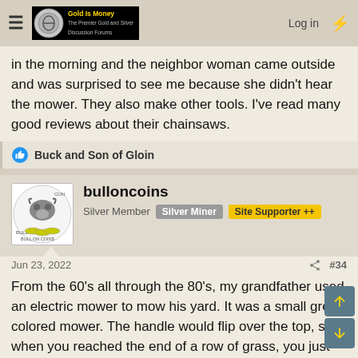Gold Is Money – The Premier Gold and Silver Discussion Forums | Log in
in the morning and the neighbor woman came outside and was surprised to see me because she didn't hear the mower. They also make other tools. I've read many good reviews about their chainsaws.
👍 Buck and Son of Gloin
bulloncoins
Silver Member  Silver Miner  Site Supporter ++
Jun 23, 2022  #34
From the 60's all through the 80's, my grandfather used an electric mower to mow his yard. It was a small green colored mower. The handle would flip over the top, so when you reached the end of a row of grass, you just flipped the handle over the mower and go the other direction. The one drawback to the whole thing was that it took a long cord to hook into the electric, and that cord had more cuts and patches than you